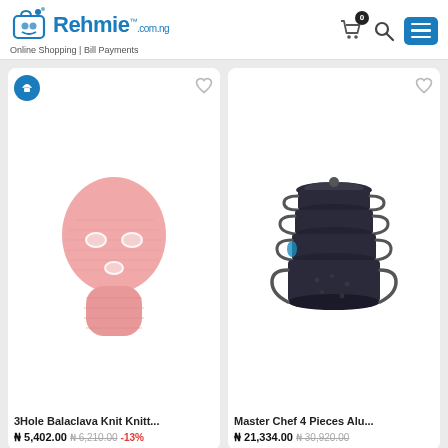Rehmie.com.ng — Online Shopping | Bill Payments
[Figure (photo): Pink 3-hole balaclava knit ski mask product photo]
3Hole Balaclava Knit Knitt...
₦ 5,402.00 ₦ 6,210.00 -13%
[Figure (photo): Master Chef 4 pieces aluminum cookware set stacked pots with lids]
Master Chef 4 Pieces Alu...
₦ 21,334.00 ₦ 30,920.00